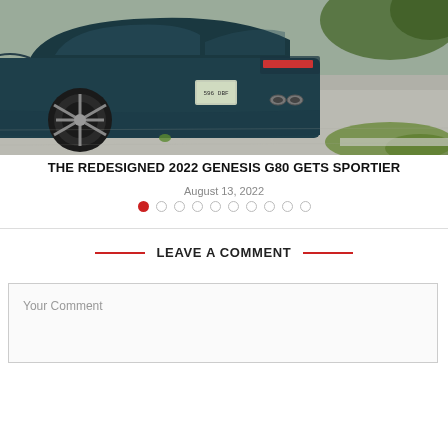[Figure (photo): Rear three-quarter view of a dark teal/green Genesis G80 sedan parked on a gray asphalt driveway, showing the rear wheel, taillights, license plate, and exhaust tip. Green grass and curb visible in background.]
THE REDESIGNED 2022 GENESIS G80 GETS SPORTIER
August 13, 2022
Carousel navigation dots (10 dots, first active)
LEAVE A COMMENT
Your Comment